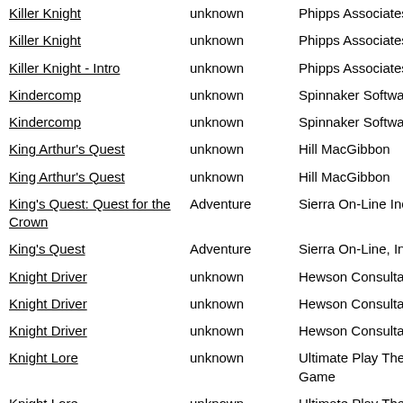| Title | Genre | Publisher |
| --- | --- | --- |
| Killer Knight | unknown | Phipps Associates |
| Killer Knight | unknown | Phipps Associates |
| Killer Knight - Intro | unknown | Phipps Associates |
| Kindercomp | unknown | Spinnaker Software |
| Kindercomp | unknown | Spinnaker Software |
| King Arthur's Quest | unknown | Hill MacGibbon |
| King Arthur's Quest | unknown | Hill MacGibbon |
| King's Quest: Quest for the Crown | Adventure | Sierra On-Line Inc. |
| King's Quest | Adventure | Sierra On-Line, Inc. |
| Knight Driver | unknown | Hewson Consultants |
| Knight Driver | unknown | Hewson Consultants |
| Knight Driver | unknown | Hewson Consultants |
| Knight Lore | unknown | Ultimate Play The Game |
| Knight Lore | unknown | Ultimate Play The... |